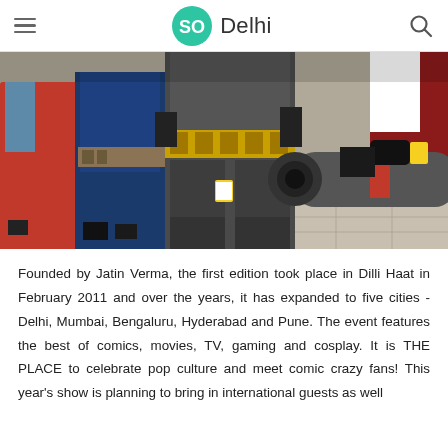SO Delhi
[Figure (photo): Cosplay photo showing people in superhero and fantasy costumes including Batman, at what appears to be an outdoor event on paved ground. One person holds a large prop weapon.]
Founded by Jatin Verma, the first edition took place in Dilli Haat in February 2011 and over the years, it has expanded to five cities - Delhi, Mumbai, Bengaluru, Hyderabad and Pune. The event features the best of comics, movies, TV, gaming and cosplay. It is THE PLACE to celebrate pop culture and meet comic crazy fans! This year's show is planning to bring in international guests as well